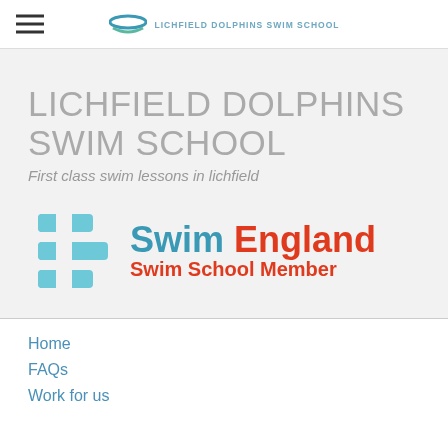LICHFIELD DOLPHINS SWIM SCHOOL
LICHFIELD DOLPHINS SWIM SCHOOL
First class swim lessons in lichfield
[Figure (logo): Swim England Swim School Member logo with blue wave icon and teal/red text]
Home
FAQs
Work for us